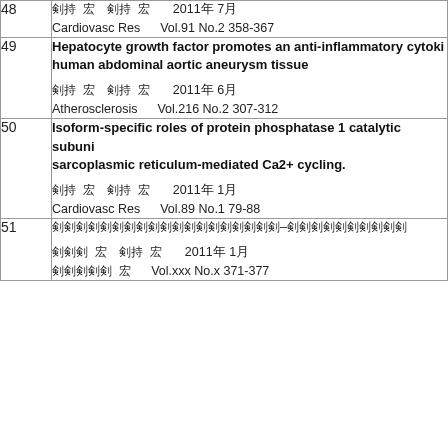| # | Content |
| --- | --- |
| 48 | Cardiovasc Res　 Vol.91 No.2 358-367, 2011年 7月 |
| 49 | Hepatocyte growth factor promotes an anti-inflammatory cytokine profile in human abdominal aortic aneurysm tissue
Atherosclerosis　 Vol.216 No.2 307-312, 2011年 6月 |
| 50 | Isoform-specific roles of protein phosphatase 1 catalytic subunit in sarcoplasmic reticulum-mediated Ca2+ cycling.
Cardiovasc Res　 Vol.89 No.1 79-88, 2011年 1月 |
| 51 | （Chinese characters）
2011年 1月
（journal）Vol.xxx No.x 371-377 |